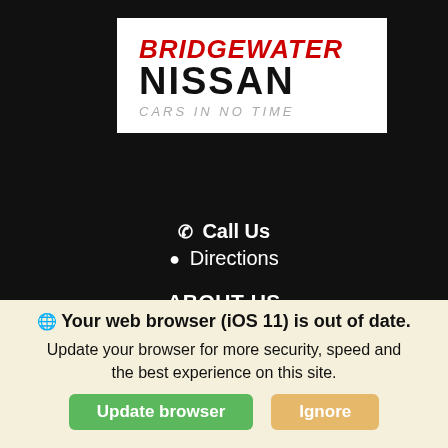[Figure (logo): Bridgewater Nissan logo with tagline 'CARS IN NO TIME' on white background]
Call Us
Directions
ABOUT US
HOURS & DIRECTIONS
FINANCE
INVENTORY
New Vehicles
Pre-Owned
Your web browser (iOS 11) is out of date. Update your browser for more security, speed and the best experience on this site.
Update browser
Ignore